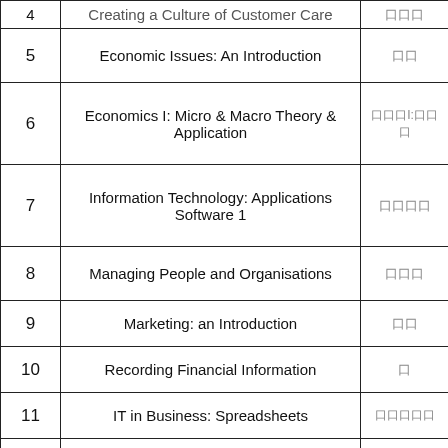| # | Subject | Code |
| --- | --- | --- |
| 4 | Creating a Culture of Customer Care | ... |
| 5 | Economic Issues: An Introduction | 口口 |
| 6 | Economics I: Micro & Macro Theory & Application | 口口口I:口口口 |
| 7 | Information Technology: Applications Software 1 | 口口口口 |
| 8 | Managing People and Organisations | 口口口 |
| 9 | Marketing: an Introduction | 口口 |
| 10 | Recording Financial Information | 口 |
| 11 | IT in Business: Spreadsheets | 口口口口口 |
| 12 | Business with Accounting: Graded Unit 1 | 口口 |